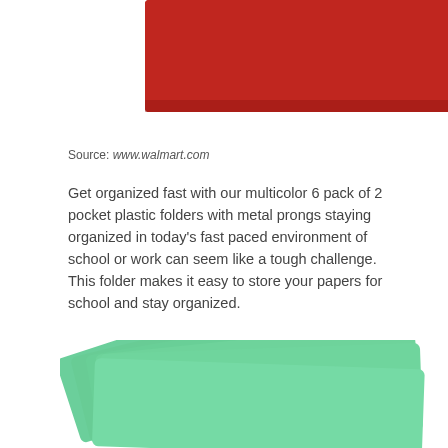[Figure (photo): Partial view of a red 2-pocket plastic folder with metal prongs, cropped at the top of the page]
Source: www.walmart.com
Get organized fast with our multicolor 6 pack of 2 pocket plastic folders with metal prongs staying organized in today's fast paced environment of school or work can seem like a tough challenge. This folder makes it easy to store your papers for school and stay organized.
[Figure (photo): Fanned-out stack of green 2-pocket plastic folders, partially cropped at the bottom of the page]